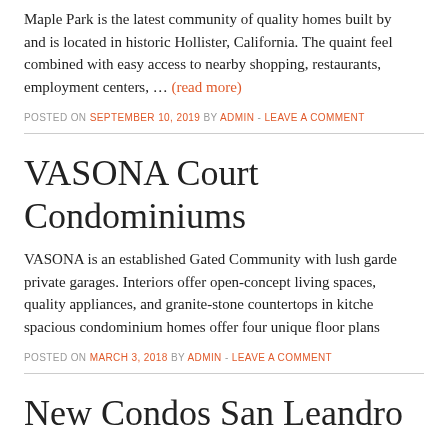Maple Park is the latest community of quality homes built by and is located in historic Hollister, California. The quaint feel combined with easy access to nearby shopping, restaurants, employment centers, … (read more)
POSTED ON SEPTEMBER 10, 2019 BY ADMIN - LEAVE A COMMENT
VASONA Court Condominiums
VASONA is an established Gated Community with lush garde private garages. Interiors offer open-concept living spaces, quality appliances, and granite-stone countertops in kitche spacious condominium homes offer four unique floor plans
POSTED ON MARCH 3, 2018 BY ADMIN - LEAVE A COMMENT
New Condos San Leandro
The Willows is a Condo community in San Leandro, Bay Are